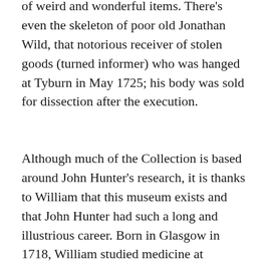of weird and wonderful items. There's even the skeleton of poor old Jonathan Wild, that notorious receiver of stolen goods (turned informer) who was hanged at Tyburn in May 1725; his body was sold for dissection after the execution.
Although much of the Collection is based around John Hunter's research, it is thanks to William that this museum exists and that John Hunter had such a long and illustrious career. Born in Glasgow in 1718, William studied medicine at Edinburgh University, moving to London in 1741. Here, he quickly became well-